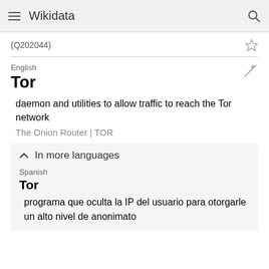Wikidata
(Q202044)
English
Tor
daemon and utilities to allow traffic to reach the Tor network
The Onion Router | TOR
In more languages
Spanish
Tor
programa que oculta la IP del usuario para otorgarle un alto nivel de anonimato